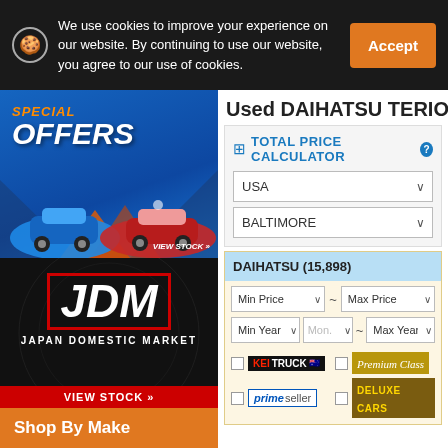We use cookies to improve your experience on our website. By continuing to use our website, you agree to our use of cookies.
[Figure (screenshot): Special Offers banner showing two cars (blue BMW and red Mercedes) with orange 'SPECIAL OFFERS' text and 'VIEW STOCK »' link]
[Figure (logo): JDM - Japan Domestic Market logo in black background with red border, and VIEW STOCK button]
Shop By Make
Used DAIHATSU TERIO
TOTAL PRICE CALCULATOR
USA
BALTIMORE
DAIHATSU (15,898)
Min Price ~ Max Price
Min Year Mon. ~ Max Year
KEI TRUCK
Premium Class
prime seller
DELUXE CARS